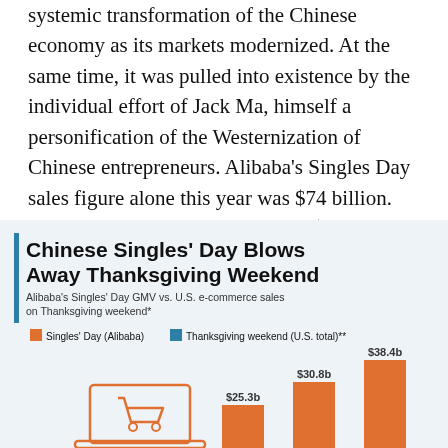systemic transformation of the Chinese economy as its markets modernized. At the same time, it was pulled into existence by the individual effort of Jack Ma, himself a personification of the Westernization of Chinese entrepreneurs. Alibaba's Singles Day sales figure alone this year was $74 billion. Reminder that Amazon has about $350 billion of gross merchandise value per year.
[Figure (bar-chart): Chinese Singles' Day Blows Away Thanksgiving Weekend]